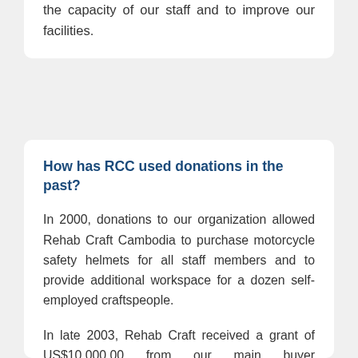the capacity of our staff and to improve our facilities.
How has RCC used donations in the past?
In 2000, donations to our organization allowed Rehab Craft Cambodia to purchase motorcycle safety helmets for all staff members and to provide additional workspace for a dozen self-employed craftspeople.
In late 2003, Rehab Craft received a grant of US$10,000.00 from our main buyer Overstock.com, USA in order to recruit a